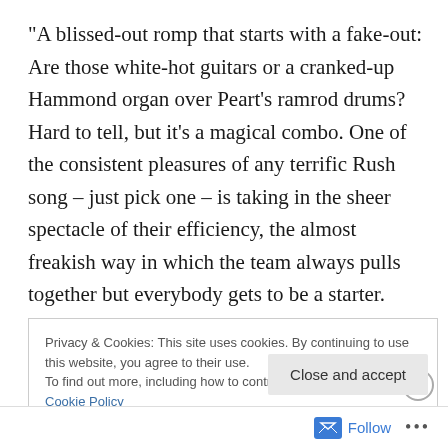“A blissed-out romp that starts with a fake-out: Are those white-hot guitars or a cranked-up Hammond organ over Peart’s ramrod drums? Hard to tell, but it’s a magical combo. One of the consistent pleasures of any terrific Rush song – just pick one – is taking in the sheer spectacle of their efficiency, the almost freakish way in which the team always pulls together but everybody gets to be a starter. Here it’s Peart, whose feverish and inventive playing creates its own kind of orbit. But even when the other players are spinning into the far reaches of
Privacy & Cookies: This site uses cookies. By continuing to use this website, you agree to their use. To find out more, including how to control cookies, see here: Cookie Policy
Close and accept
Follow